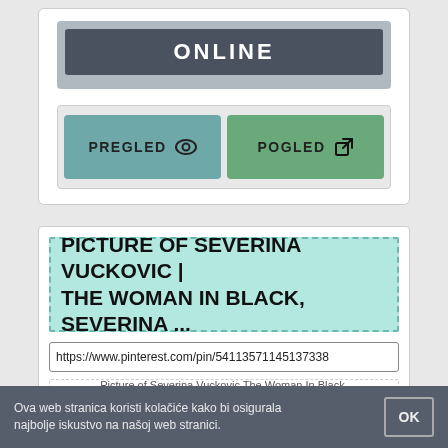[Figure (screenshot): ONLINE status banner with dark grey background and white bold text ONLINE]
[Figure (screenshot): Two buttons: PREGLED (teal, with eye icon) and POGLED (green, with external link icon)]
PICTURE OF SEVERINA VUCKOVIC | THE WOMAN IN BLACK, SEVERINA ...
https://www.pinterest.com/pin/54113571145137338
Picture of Severina Vuckovic The Woman In Black, White Girls, Most Beautiful Women,.
Ova web stranica koristi kolačiće kako bi osigurala najbolje iskustvo na našoj web stranici.